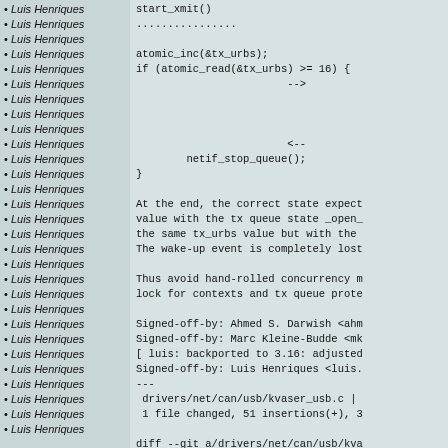Luis Henriques
Luis Henriques
Luis Henriques
Luis Henriques
Luis Henriques
Luis Henriques
Luis Henriques
Luis Henriques
Luis Henriques
Luis Henriques
Luis Henriques
Luis Henriques
Luis Henriques
Luis Henriques
Luis Henriques
Luis Henriques
Luis Henriques
Luis Henriques
Luis Henriques
Luis Henriques
Luis Henriques
Luis Henriques
Luis Henriques
Luis Henriques
Luis Henriques
Luis Henriques
Luis Henriques
Luis Henriques
Luis Henriques
start_xmit()
................

atomic_inc(&tx_urbs);
if (atomic_read(&tx_urbs) >= 16) {
                        -->



                        <--
        netif_stop_queue();
}

At the end, the correct state expect
value with the tx queue state _open_
the same tx_urbs value but with the
The wake-up event is completely lost

Thus avoid hand-rolled concurrency m
lock for contexts and tx queue prote

Signed-off-by: Ahmed S. Darwish <ahm
Signed-off-by: Marc Kleine-Budde <mk
[ luis: backported to 3.16: adjusted
Signed-off-by: Luis Henriques <luis.
---
 drivers/net/can/usb/kvaser_usb.c |
 1 file changed, 51 insertions(+), 3

diff --git a/drivers/net/can/usb/kva